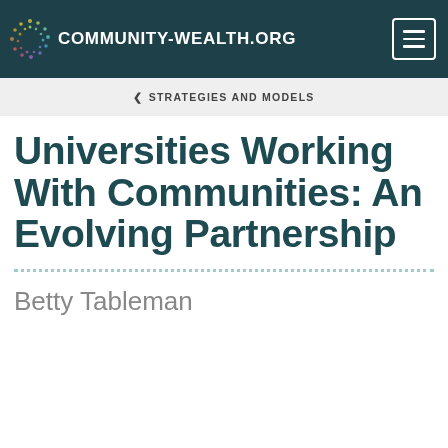COMMUNITY-WEALTH.ORG
STRATEGIES AND MODELS
Universities Working With Communities: An Evolving Partnership
Betty Tableman